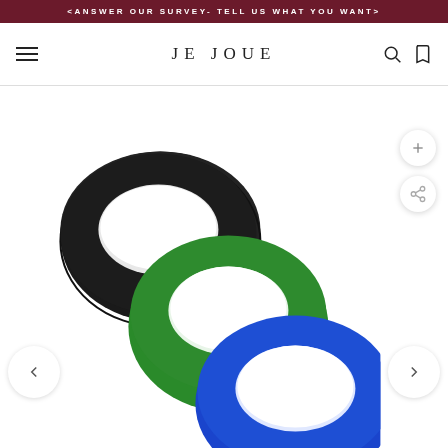< ANSWER OUR SURVEY- TELL US WHAT YOU WANT >
[Figure (logo): JE JOUE brand logo in the navigation bar]
[Figure (photo): Three silicone cock rings stacked diagonally: black (top left), green (middle), blue (bottom right) on white background]